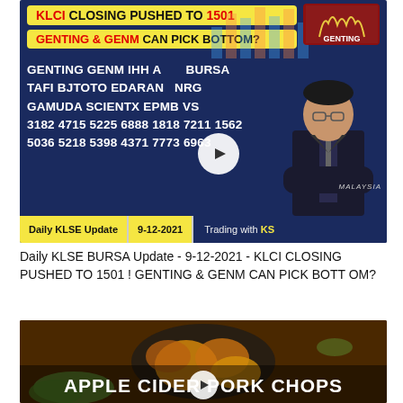[Figure (screenshot): YouTube thumbnail: KLCI CLOSING PUSHED TO 1501, GENTING & GENM CAN PICK BOTTOM? with stock codes and a Malaysian financial presenter. Daily KLSE Update 9-12-2021, Trading with KS.]
Daily KLSE BURSA Update - 9-12-2021 - KLCI CLOSING PUSHED TO 1501 ! GENTING & GENM CAN PICK BOTTOM?
[Figure (photo): Thumbnail showing Apple Cider Pork Chops in a cast iron pan with play button overlay.]